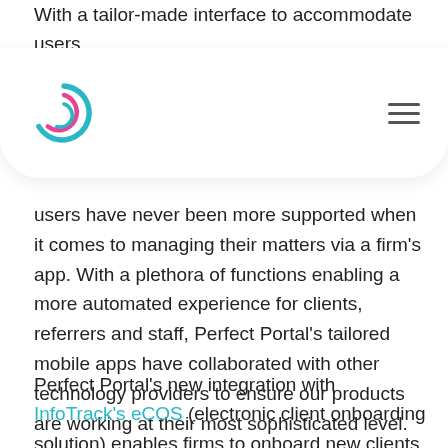With a tailor-made interface to accommodate users, su' r Fro. users have never been more supported when it comes to managing their matters via a firm's app. With a plethora of functions enabling a more automated experience for clients, referrers and staff, Perfect Portal's tailored mobile apps have collaborated with other technology providers to ensure our products are working at their most sophisticated level.
[Figure (logo): Perfect Portal logo — circular pink/teal spiral P icon with hamburger menu icon on the right, on a white rounded card]
Perfect Portal's new integration with InfoTrack's eCOS (electronic client onboarding solution) enables firms to onboard new clients directly through their